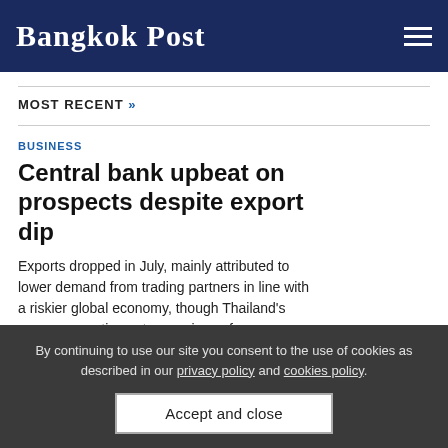Bangkok Post
MOST RECENT »
BUSINESS
Central bank upbeat on prospects despite export dip
Exports dropped in July, mainly attributed to lower demand from trading partners in line with a riskier global economy, though Thailand's economy continues to see signs of
By continuing to use our site you consent to the use of cookies as described in our privacy policy and cookies policy.
Accept and close